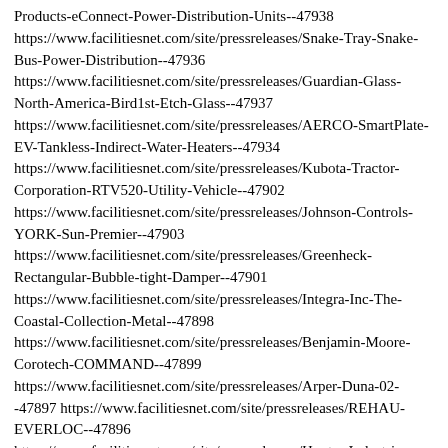Products-eConnect-Power-Distribution-Units--47938 https://www.facilitiesnet.com/site/pressreleases/Snake-Tray-Snake-Bus-Power-Distribution--47936 https://www.facilitiesnet.com/site/pressreleases/Guardian-Glass-North-America-Bird1st-Etch-Glass--47937 https://www.facilitiesnet.com/site/pressreleases/AERCO-SmartPlate-EV-Tankless-Indirect-Water-Heaters--47934 https://www.facilitiesnet.com/site/pressreleases/Kubota-Tractor-Corporation-RTV520-Utility-Vehicle--47902 https://www.facilitiesnet.com/site/pressreleases/Johnson-Controls-YORK-Sun-Premier--47903 https://www.facilitiesnet.com/site/pressreleases/Greenheck-Rectangular-Bubble-tight-Damper--47901 https://www.facilitiesnet.com/site/pressreleases/Integra-Inc-The-Coastal-Collection-Metal--47898 https://www.facilitiesnet.com/site/pressreleases/Benjamin-Moore-Corotech-COMMAND--47899 https://www.facilitiesnet.com/site/pressreleases/Arper-Duna-02--47897 https://www.facilitiesnet.com/site/pressreleases/REHAU-EVERLOC--47896 https://www.facilitiesnet.com/site/pressreleases/Hunter-Industries-PGP-06-Rotor--47894 https://www.facilitiesnet.com/site/pressreleases/CertainTeed-Architectural-HeartFelt-Linear-Ceiling-Panels--47895 https://www.facilitiesnet.com/site/pressreleases/Patcraft-Artful-...--47873